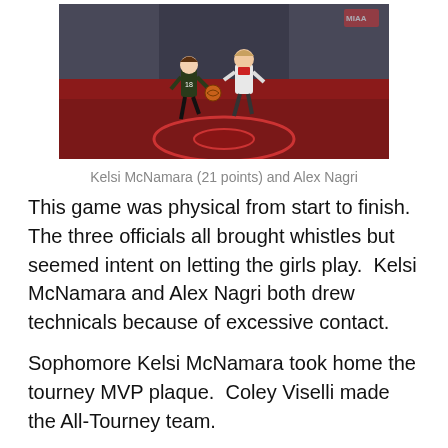[Figure (photo): Two female basketball players on a red court, one in dark uniform (#18) dribbling, one in white uniform defending]
Kelsi McNamara (21 points) and Alex Nagri
This game was physical from start to finish.  The three officials all brought whistles but seemed intent on letting the girls play.  Kelsi McNamara and Alex Nagri both drew technicals because of excessive contact.
Sophomore Kelsi McNamara took home the tourney MVP plaque.  Coley Viselli made the All-Tourney team.
I'm sure that Kelsi's twenty-one points played a part in her selection but her handling of the ball against physical